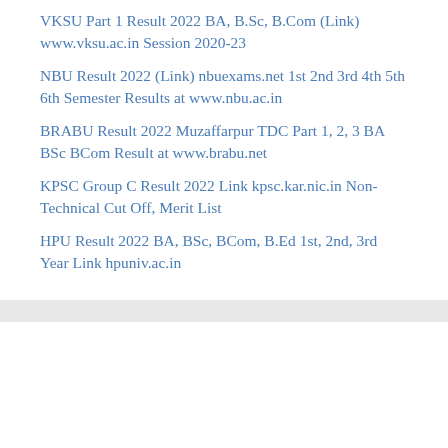VKSU Part 1 Result 2022 BA, B.Sc, B.Com (Link) www.vksu.ac.in Session 2020-23
NBU Result 2022 (Link) nbuexams.net 1st 2nd 3rd 4th 5th 6th Semester Results at www.nbu.ac.in
BRABU Result 2022 Muzaffarpur TDC Part 1, 2, 3 BA BSc BCom Result at www.brabu.net
KPSC Group C Result 2022 Link kpsc.kar.nic.in Non-Technical Cut Off, Merit List
HPU Result 2022 BA, BSc, BCom, B.Ed 1st, 2nd, 3rd Year Link hpuniv.ac.in